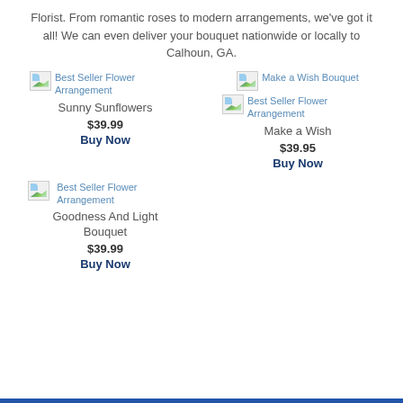Florist. From romantic roses to modern arrangements, we've got it all! We can even deliver your bouquet nationwide or locally to Calhoun, GA.
[Figure (other): Broken image placeholder for Best Seller Flower Arrangement - Sunny Sunflowers]
Sunny Sunflowers
$39.99
Buy Now
[Figure (other): Broken image placeholder for Make a Wish Bouquet / Best Seller Flower Arrangement]
Make a Wish
$39.95
Buy Now
[Figure (other): Broken image placeholder for Best Seller Flower Arrangement - Goodness And Light Bouquet]
Goodness And Light Bouquet
$39.99
Buy Now